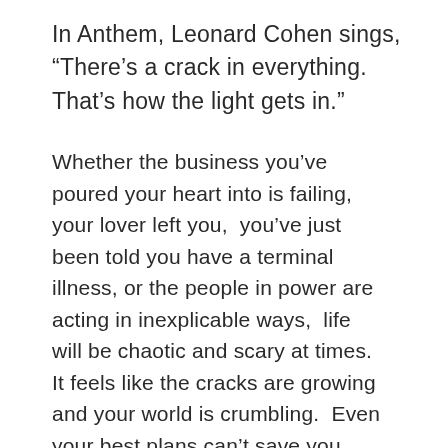In Anthem, Leonard Cohen sings, “There’s a crack in everything. That’s how the light gets in.”
Whether the business you’ve poured your heart into is failing, your lover left you,  you’ve just been told you have a terminal illness, or the people in power are acting in inexplicable ways,  life will be chaotic and scary at times. It feels like the cracks are growing and your world is crumbling.  Even your best plans can’t save you.